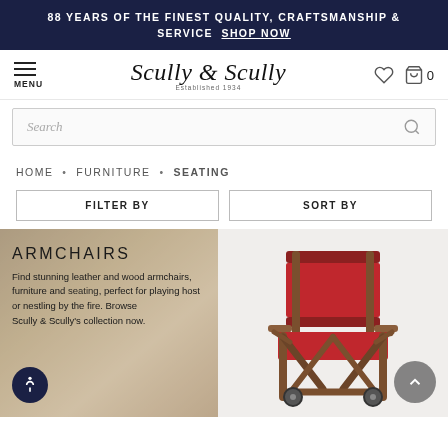88 YEARS OF THE FINEST QUALITY, CRAFTSMANSHIP & SERVICE SHOP NOW
[Figure (screenshot): Scully & Scully navigation bar with menu icon, logo, heart icon, bag icon and cart count 0]
[Figure (screenshot): Search bar with placeholder text 'Search' and magnifying glass icon]
HOME • FURNITURE • SEATING
FILTER BY    SORT BY
[Figure (photo): Armchairs category banner with text overlay: ARMCHAIRS - Find stunning leather and wood armchairs, furniture and seating, perfect for playing host or nestling by the fire. Browse Scully & Scully's collection now.]
[Figure (photo): Red leather director's chair with wooden frame on casters, product image on grey background]